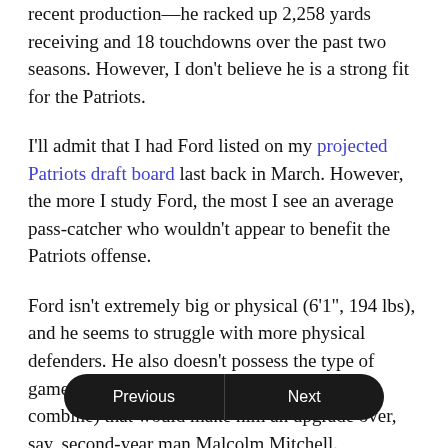recent production—he racked up 2,258 yards receiving and 18 touchdowns over the past two seasons. However, I don't believe he is a strong fit for the Patriots.
I'll admit that I had Ford listed on my projected Patriots draft board last back in March. However, the more I study Ford, the most I see an average pass-catcher who wouldn't appear to benefit the Patriots offense.
Ford isn't extremely big or physical (6'1", 194 lbs), and he seems to struggle with more physical defenders. He also doesn't possess the type of game-changing speed (he ran a 4.61 40 at the combine) that would make him an upgrade over, say, second-year man Malcolm Mitchell.
Let's not forget that Ford wasn't responsible for knowing the most advan... inia Tech. New England's complex offense could provide him with an outstandin challenge/learning...